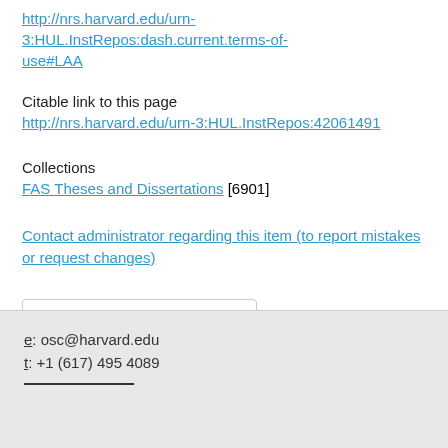http://nrs.harvard.edu/urn-3:HUL.InstRepos:dash.current.terms-of-use#LAA
Citable link to this page
http://nrs.harvard.edu/urn-3:HUL.InstRepos:42061491
Collections
FAS Theses and Dissertations [6901]
Contact administrator regarding this item (to report mistakes or request changes)
Show Statistical Information
e: osc@harvard.edu
t: +1 (617) 495 4089